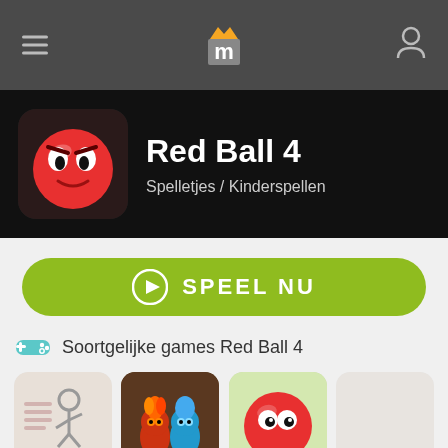Navigation bar with hamburger menu, Miniclip logo, and user profile icon
[Figure (screenshot): Red Ball 4 game icon - red ball with angry eyes on dark background]
Red Ball 4
Spelletjes / Kinderspellen
SPEEL NU
Soortgelijke games Red Ball 4
[Figure (screenshot): The Fancy Pa... game thumbnail - stick figure running on white background]
[Figure (screenshot): FireBoy and ... game thumbnail - fire boy and water girl characters]
[Figure (screenshot): Red Ball 3 game thumbnail - red ball with eyes on green background]
[Figure (screenshot): Fox Adventurer game thumbnail - light colored placeholder]
The Fancy Pa...
FireBoy and ...
Red Ball 3
Fox Adventurer